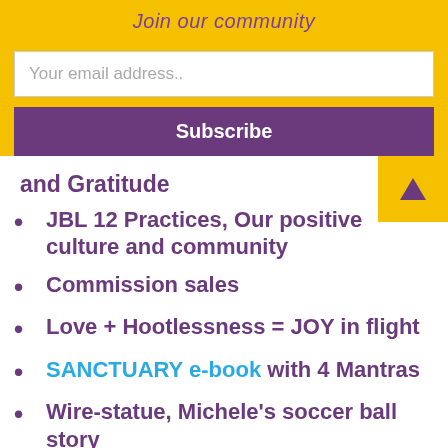Join our community
Your email address..
Subscribe
and Gratitude
JBL 12 Practices, Our positive culture and community
Commission sales
Love + Hootlessness = JOY in flight
SANCTUARY e-book with 4 Mantras
Wire-statue, Michele's soccer ball story
Create sparkly moments and memories!
Level up!